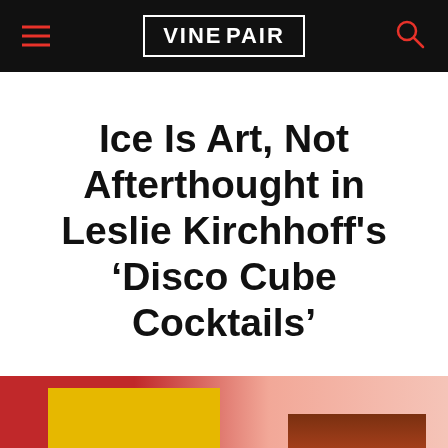VINEPAIR
Ice Is Art, Not Afterthought in Leslie Kirchhoff's 'Disco Cube Cocktails'
[Figure (photo): Two cocktail photographs side by side: left shows a yellow-background drink on a curved stand with a round yellow garnish; right shows a brown/dark layered cocktail on a pinkish-red gradient background.]